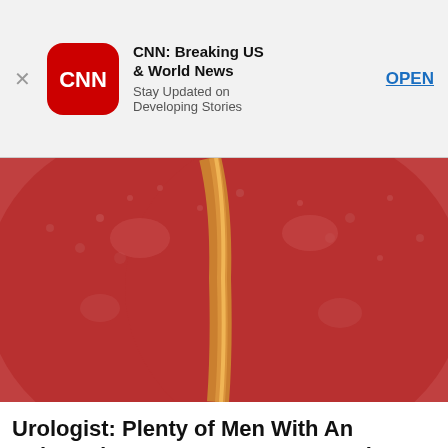[Figure (screenshot): App install banner for CNN: Breaking US & World News with CNN logo icon, close button, app description 'Stay Updated on Developing Stories', and OPEN button]
[Figure (photo): Close-up medical illustration of an enlarged prostate gland, reddish-brown tissue with a central slit, partially visible (cropped top)]
Urologist: Plenty of Men With An Enlarged Prostate Do Not Know About This Simple...
Sponsored: GorillaSecret.com
[Figure (photo): Black and white photo of a young smiling man, close-up portrait]
Average Person Won't Know The First 10 Questions
Sponsored: Auto Overload
[Figure (photo): Partial photo of a woman with blonde/reddish hair, cropped at bottom of page with letter overlay 'IC']
[Pics] At 70, This Is Her Net